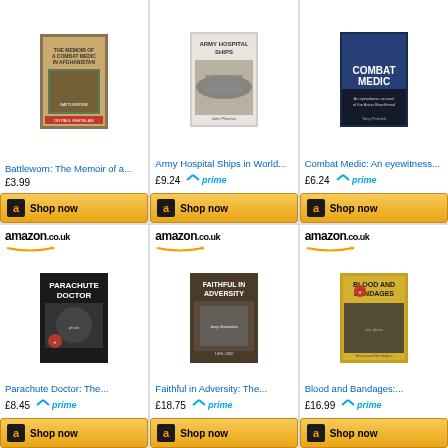[Figure (other): Amazon product card - Battleworn: The Memoir of a... book cover, price £3.99, Shop now button]
[Figure (other): Amazon product card - Army Hospital Ships in World... book cover, price £9.24, Prime, Shop now button]
[Figure (other): Amazon product card - Combat Medic: An eyewitness... book cover, price £6.24, Prime, Shop now button]
[Figure (other): Amazon.co.uk product card - Parachute Doctor: The... book cover, price £8.45, Prime, Shop now button]
[Figure (other): Amazon.co.uk product card - Faithful in Adversity: The... book cover, price £18.75, Prime, Shop now button]
[Figure (other): Amazon.co.uk product card - Blood and Bandages:... book cover, price £16.99, Prime, Shop now button]